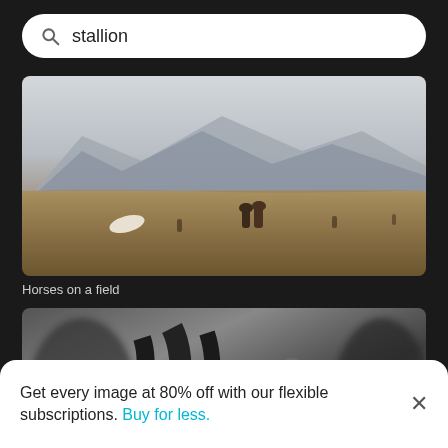stallion
[Figure (photo): Horses grazing on a vast field with a snow-capped mountain in the background, wide landscape shot]
Horses on a field
[Figure (photo): Close-up black and white photo of horse bridles and rope, blurred background]
Get every image at 80% off with our flexible subscriptions. Buy for less.